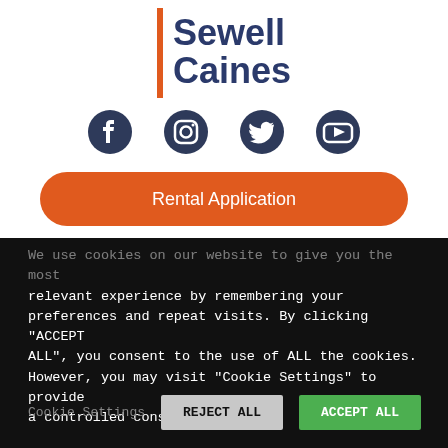[Figure (logo): Sewell Caines logo with orange vertical bar and dark navy text]
[Figure (infographic): Social media icons row: Facebook, Instagram, Twitter, YouTube]
Rental Application
Book a Valuation
[Figure (infographic): Hamburger menu icon with three orange horizontal lines]
We use cookies on our website to give you the most relevant experience by remembering your preferences and repeat visits. By clicking "ACCEPT ALL", you consent to the use of ALL the cookies. However, you may visit "Cookie Settings" to provide a controlled consent.
Cookie Settings
REJECT ALL
ACCEPT ALL